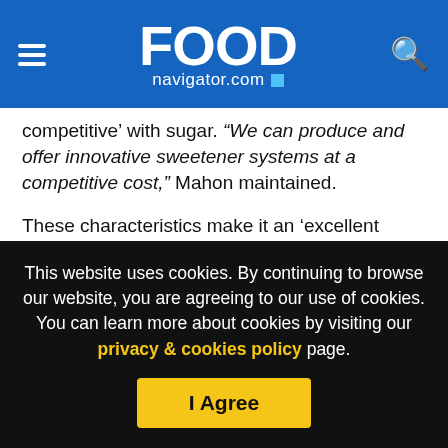FOOD navigator.com
competitive’ with sugar. “We can produce and offer innovative sweetener systems at a competitive cost,” Mahon maintained.
These characteristics make it an ‘excellent alternative’ to not just sugar but also artificial sweeteners and ‘old generation’ nature-based sweeteners such as stevia rebaudioside A.
“Brazzein is sweeter than most nature-based sweeteners and has a different sweet profile, intensity and release. It is synergistic with other nature-based sweeteners. Brazzein’s synergistic effects
This website uses cookies. By continuing to browse our website, you are agreeing to our use of cookies. You can learn more about cookies by visiting our privacy & cookies policy page.